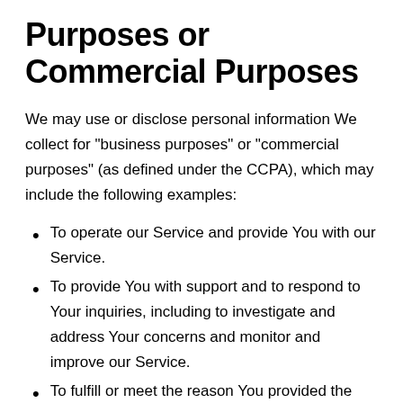Purposes or Commercial Purposes
We may use or disclose personal information We collect for "business purposes" or "commercial purposes" (as defined under the CCPA), which may include the following examples:
To operate our Service and provide You with our Service.
To provide You with support and to respond to Your inquiries, including to investigate and address Your concerns and monitor and improve our Service.
To fulfill or meet the reason You provided the information. For example, if You share Your contact information to learn more about our Service,